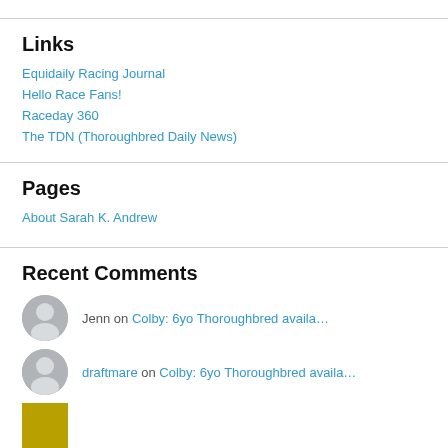Links
Equidaily Racing Journal
Hello Race Fans!
Raceday 360
The TDN (Thoroughbred Daily News)
Pages
About Sarah K. Andrew
Recent Comments
Jenn on Colby: 6yo Thoroughbred availa…
draftmare on Colby: 6yo Thoroughbred availa…